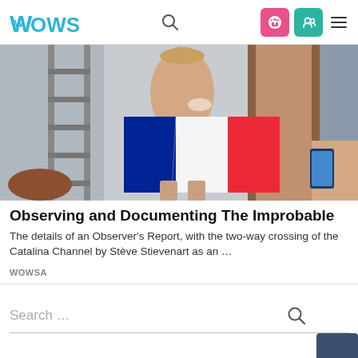WOWSA
[Figure (photo): A person wrapping themselves in a French tricolor flag (blue, white, red), standing in what appears to be a boat or vessel doorway, with a ladder visible on the left and someone photographing on the right.]
Observing and Documenting The Improbable
The details of an Observer's Report, with the two-way crossing of the Catalina Channel by Stève Stievenart as an …
WOWSA
Search …